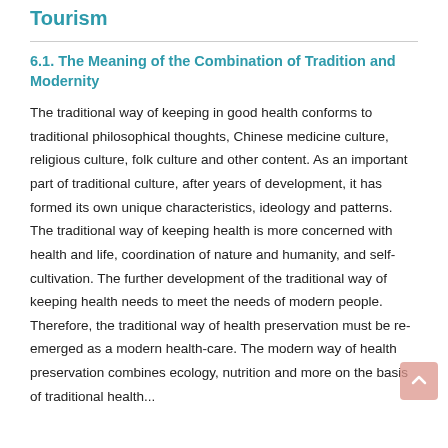Tourism
6.1. The Meaning of the Combination of Tradition and Modernity
The traditional way of keeping in good health conforms to traditional philosophical thoughts, Chinese medicine culture, religious culture, folk culture and other content. As an important part of traditional culture, after years of development, it has formed its own unique characteristics, ideology and patterns. The traditional way of keeping health is more concerned with health and life, coordination of nature and humanity, and self-cultivation. The further development of the traditional way of keeping health needs to meet the needs of modern people. Therefore, the traditional way of health preservation must be re-emerged as a modern health-care. The modern way of health preservation combines ecology, nutrition and more on the basis of traditional health...